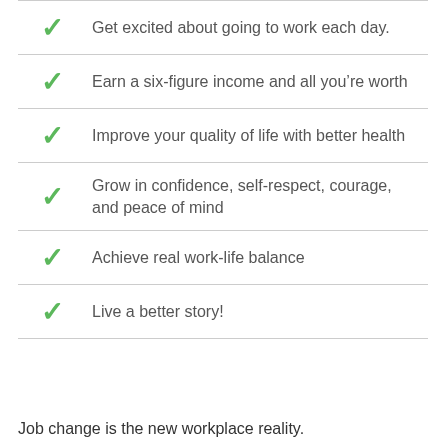Get excited about going to work each day.
Earn a six-figure income and all you're worth
Improve your quality of life with better health
Grow in confidence, self-respect, courage, and peace of mind
Achieve real work-life balance
Live a better story!
Job change is the new workplace reality.